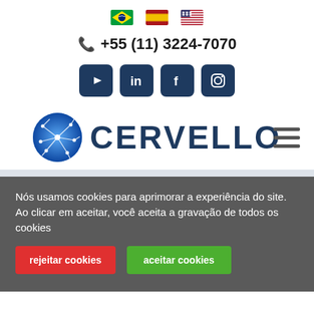[Figure (infographic): Three country flag icons: Brazil, Spain, USA]
+55 (11) 3224-7070
[Figure (infographic): Social media icons: YouTube, LinkedIn, Facebook, Instagram]
[Figure (logo): Cervello logo with neural brain circle icon and text CERVELLO, plus hamburger menu icon]
Nós usamos cookies para aprimorar a experiência do site. Ao clicar em aceitar, você aceita a gravação de todos os cookies
rejeitar cookies
aceitar cookies